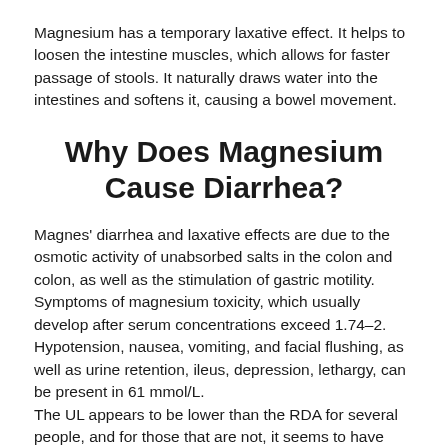Magnesium has a temporary laxative effect. It helps to loosen the intestine muscles, which allows for faster passage of stools. It naturally draws water into the intestines and softens it, causing a bowel movement.
Why Does Magnesium Cause Diarrhea?
Magnes' diarrhea and laxative effects are due to the osmotic activity of unabsorbed salts in the colon and colon, as well as the stimulation of gastric motility. Symptoms of magnesium toxicity, which usually develop after serum concentrations exceed 1.74–2. Hypotension, nausea, vomiting, and facial flushing, as well as urine retention, ileus, depression, lethargy, can be present in 61 mmol/L. The UL appears to be lower than the RDA for several people, and for those that are not, it seems to have less.